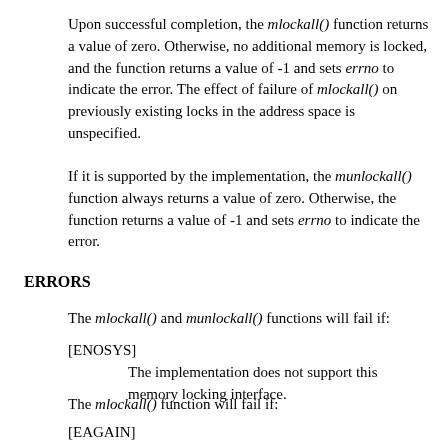Upon successful completion, the mlockall() function returns a value of zero. Otherwise, no additional memory is locked, and the function returns a value of -1 and sets errno to indicate the error. The effect of failure of mlockall() on previously existing locks in the address space is unspecified.
If it is supported by the implementation, the munlockall() function always returns a value of zero. Otherwise, the function returns a value of -1 and sets errno to indicate the error.
ERRORS
The mlockall() and munlockall() functions will fail if:
[ENOSYS]
    The implementation does not support this memory locking interface.
The mlockall() function will fail if:
[EAGAIN]
    Some or all of the memory identified by the